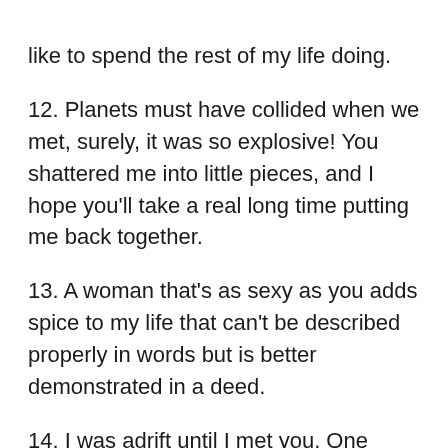like to spend the rest of my life doing.
12. Planets must have collided when we met, surely, it was so explosive! You shattered me into little pieces, and I hope you'll take a real long time putting me back together.
13. A woman that's as sexy as you adds spice to my life that can't be described properly in words but is better demonstrated in a deed.
14. I was adrift until I met you. One small raft in a cold, stormy sea. Then you came along and rescued me with your sultry looks and constant loving. Let's sail away together.